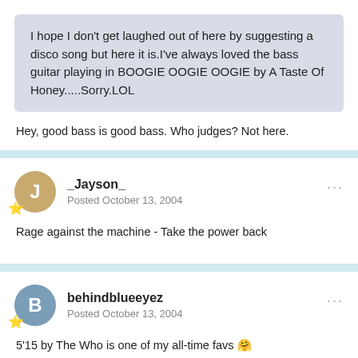I hope I don't get laughed out of here by suggesting a disco song but here it is.I've always loved the bass guitar playing in BOOGIE OOGIE OOGIE by A Taste Of Honey.....Sorry.LOL
Hey, good bass is good bass. Who judges? Not here.
_Jayson_
Posted October 13, 2004
Rage against the machine - Take the power back
behindblueeyez
Posted October 13, 2004
5'15 by The Who is one of my all-time favs 🤗